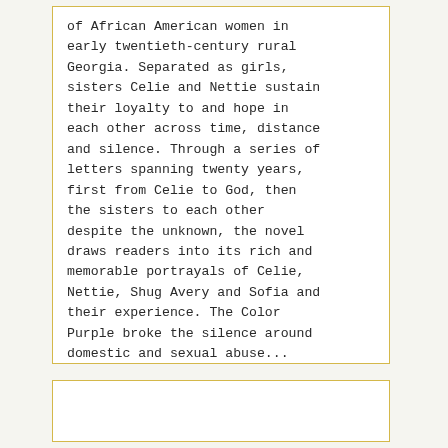of African American women in early twentieth-century rural Georgia. Separated as girls, sisters Celie and Nettie sustain their loyalty to and hope in each other across time, distance and silence. Through a series of letters spanning twenty years, first from Celie to God, then the sisters to each other despite the unknown, the novel draws readers into its rich and memorable portrayals of Celie, Nettie, Shug Avery and Sofia and their experience. The Color Purple broke the silence around domestic and sexual abuse...